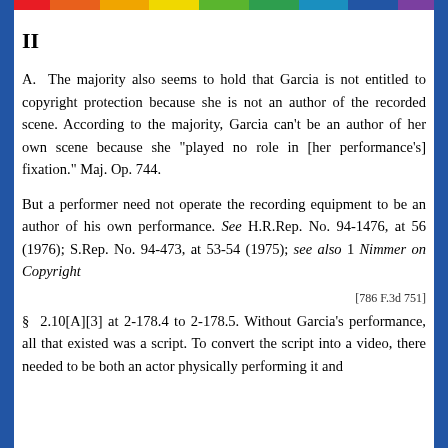II
A.  The majority also seems to hold that Garcia is not entitled to copyright protection because she is not an author of the recorded scene. According to the majority, Garcia can't be an author of her own scene because she "played no role in [her performance's] fixation." Maj. Op. 744.
But a performer need not operate the recording equipment to be an author of his own performance. See H.R.Rep. No. 94-1476, at 56 (1976); S.Rep. No. 94-473, at 53-54 (1975); see also 1 Nimmer on Copyright
[786 F.3d 751]
§  2.10[A][3] at 2-178.4 to 2-178.5. Without Garcia's performance, all that existed was a script. To convert the script into a video, there needed to be both an actor physically performing it and